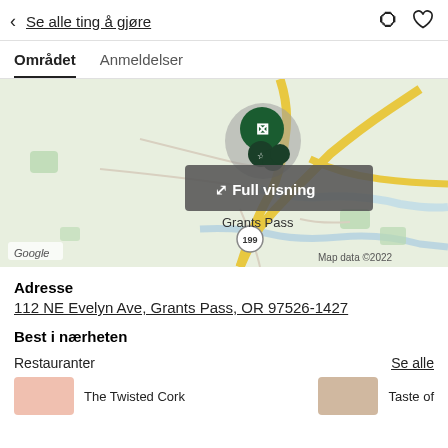< Se alle ting å gjøre
Området  Anmeldelser
[Figure (map): Google Maps showing Grants Pass, Oregon area with highway markers (5, 199), map pins clustered near the city center, a 'Full visning' overlay button, and 'Map data ©2022' attribution. Google logo visible in bottom left.]
Adresse
112 NE Evelyn Ave, Grants Pass, OR 97526-1427
Bestinærheten
Restauranter
Se alle
The Twisted Cork
Taste of